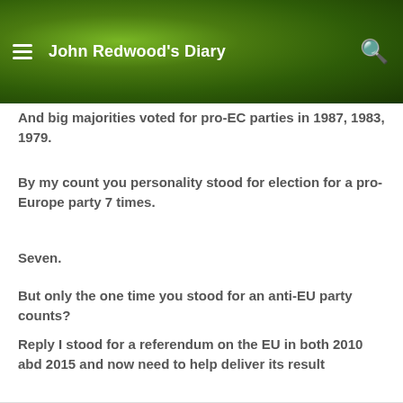John Redwood's Diary
And big majorities voted for pro-EC parties in 1987, 1983, 1979.
By my count you personality stood for election for a pro-Europe party 7 times.
Seven.
But only the one time you stood for an anti-EU party counts?
Reply I stood for a referendum on the EU in both 2010 abd 2015 and now need to help deliver its result